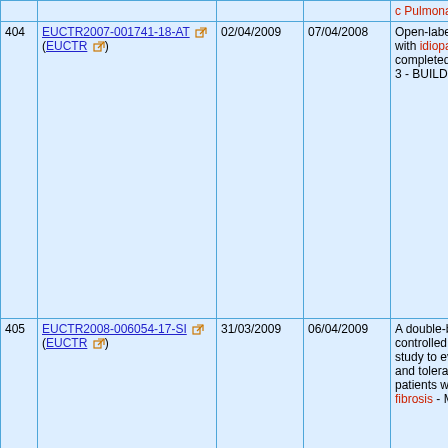|  | Trial ID | Date1 | Date2 | Description |
| --- | --- | --- | --- | --- |
|  | c Pulmonary Fibrosis |  |  |  |
| 404 | EUCTR2007-001741-18-AT (EUCTR) | 02/04/2009 | 07/04/2008 | Open-label extension study in patients with idiopathic Pulmonary Fibrosis who completed protocol AC-052-321 BUILD 3 - BUILD-3-OL |
| 405 | EUCTR2008-006054-17-SI (EUCTR) | 31/03/2009 | 06/04/2009 | A double-blind, randomized, placebo-controlled, multicenter, parallel group study to evaluate the efficacy, safety and tolerability of macitentan in patients with idiopathic pulmonary fibrosis - MUSIC |